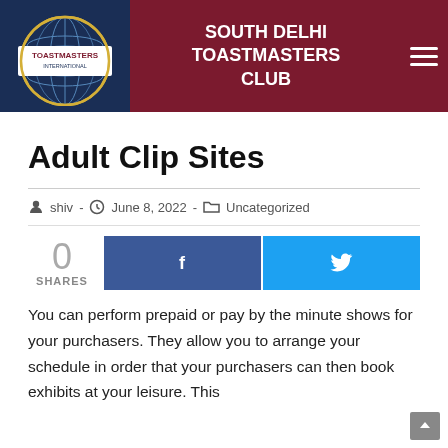[Figure (logo): Toastmasters International globe logo with 'SOUTH DELHI TOASTMASTERS CLUB' header text on dark red/maroon background]
Adult Clip Sites
shiv  ·  June 8, 2022  ·  Uncategorized
0 SHARES
You can perform prepaid or pay by the minute shows for your purchasers. They allow you to arrange your schedule in order that your purchasers can then book exhibits at your leisure. This